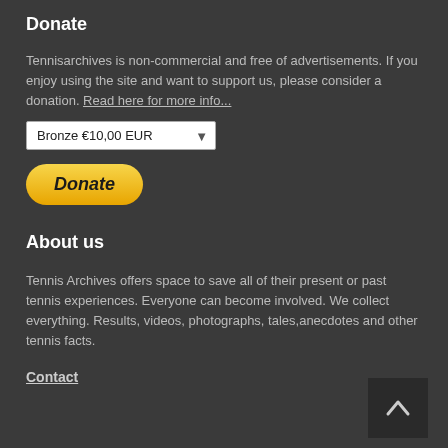Donate
Tennisarchives is non-commercial and free of advertisements. If you enjoy using the site and want to support us, please consider a donation. Read here for more info...
[Figure (other): Dropdown selector showing 'Bronze €10,00 EUR' with arrow, and a yellow PayPal Donate button]
About us
Tennis Archives offers space to save all of their present or past tennis experiences. Everyone can become involved. We collect everything. Results, videos, photographs, tales,anecdotes and other tennis facts.
Contact